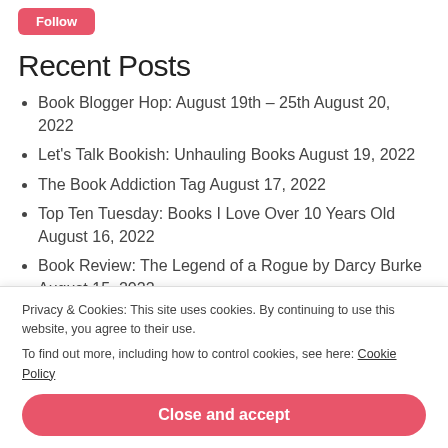Follow
Recent Posts
Book Blogger Hop: August 19th – 25th August 20, 2022
Let's Talk Bookish: Unhauling Books August 19, 2022
The Book Addiction Tag August 17, 2022
Top Ten Tuesday: Books I Love Over 10 Years Old August 16, 2022
Book Review: The Legend of a Rogue by Darcy Burke August 15, 2022
Privacy & Cookies: This site uses cookies. By continuing to use this website, you agree to their use.
To find out more, including how to control cookies, see here: Cookie Policy
Close and accept